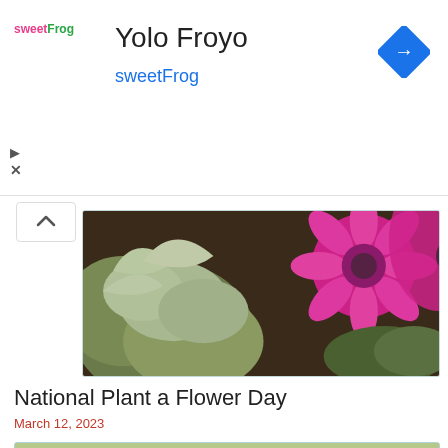Yolo Froyo — sweetFrog ad banner
[Figure (photo): Top portion of a garden photo showing green foliage and bright pink flowers on dark soil background]
National Plant a Flower Day
March 12, 2023
[Figure (photo): Woman with blonde hair making finger circles around her eyes, green background, playful expression]